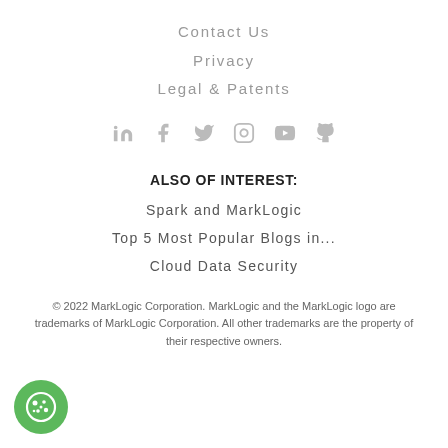Contact Us
Privacy
Legal & Patents
[Figure (illustration): Social media icons: LinkedIn, Facebook, Twitter, Instagram, YouTube, GitHub — all in light gray]
ALSO OF INTEREST:
Spark and MarkLogic
Top 5 Most Popular Blogs in...
Cloud Data Security
© 2022 MarkLogic Corporation. MarkLogic and the MarkLogic logo are trademarks of MarkLogic Corporation. All other trademarks are the property of their respective owners.
[Figure (illustration): Green circular cookie consent button with cookie icon]